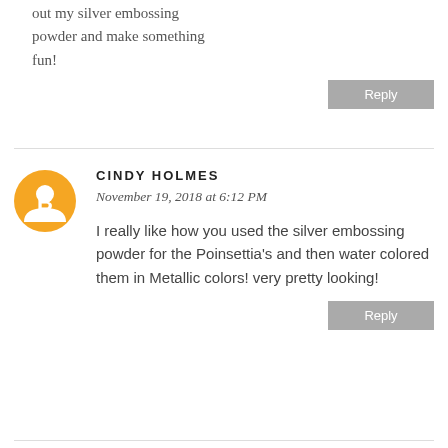out my silver embossing powder and make something fun!
Reply
CINDY HOLMES
November 19, 2018 at 6:12 PM
I really like how you used the silver embossing powder for the Poinsettia's and then water colored them in Metallic colors! very pretty looking!
Reply